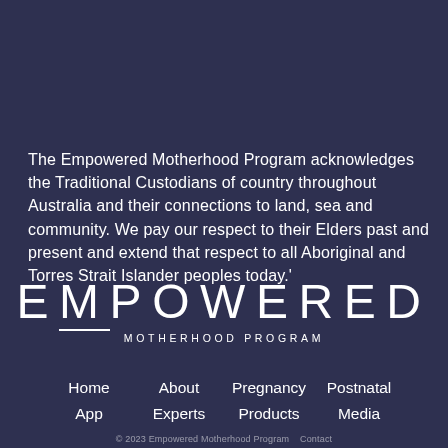The Empowered Motherhood Program acknowledges the Traditional Custodians of country throughout Australia and their connections to land, sea and community. We pay our respect to their Elders past and present and extend that respect to all Aboriginal and Torres Strait Islander peoples today.'
EMPOWERED MOTHERHOOD PROGRAM
Home   About   Pregnancy   Postnatal   App   Experts   Products   Media
© 2023 Empowered Motherhood Program   Contact